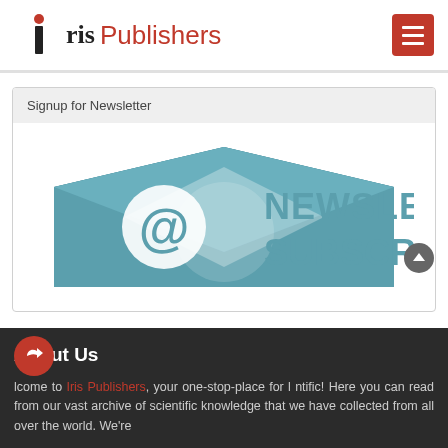Iris Publishers
Signup for Newsletter
[Figure (illustration): Newsletter Subscription graphic with teal envelope icon containing @ symbol and text NEWSLETTER SUBSCRIPTION in teal capital letters]
About Us
Welcome to Iris Publishers, your one-stop-place for latest scientific! Here you can read from our vast archive of scientific knowledge that we have collected from all over the world. We're